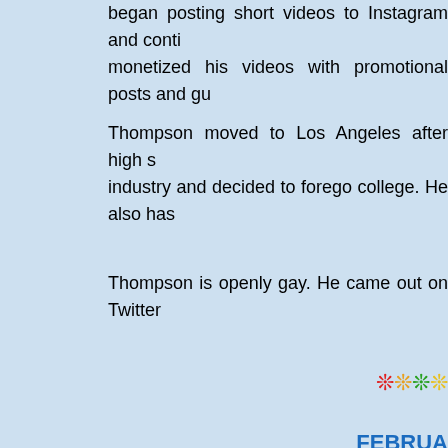began posting short videos to Instagram and continued to grow his following. He monetized his videos with promotional posts and gu...
Thompson moved to Los Angeles after high school to pursue a career in the entertainment industry and decided to forego college. He also has...
Thompson is openly gay. He came out on Twitter i...
❊❊❊
FEBRUA...
[{(o)}]|[{(o)}]||[{(o)}]|[